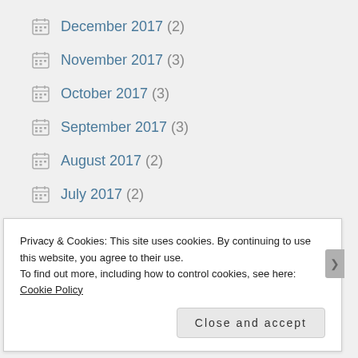December 2017 (2)
November 2017 (3)
October 2017 (3)
September 2017 (3)
August 2017 (2)
July 2017 (2)
June 2017 (2)
May 2017 (3)
April 2017 (1)
Privacy & Cookies: This site uses cookies. By continuing to use this website, you agree to their use.
To find out more, including how to control cookies, see here: Cookie Policy
Close and accept